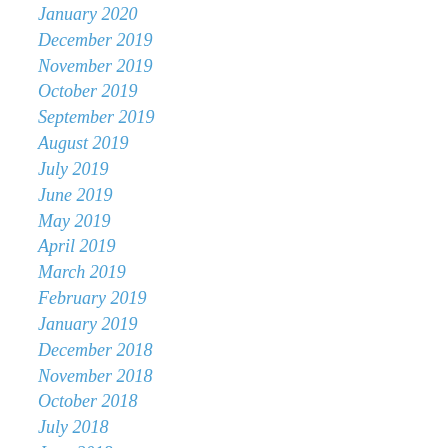January 2020
December 2019
November 2019
October 2019
September 2019
August 2019
July 2019
June 2019
May 2019
April 2019
March 2019
February 2019
January 2019
December 2018
November 2018
October 2018
July 2018
June 2018
May 2018
April 2018